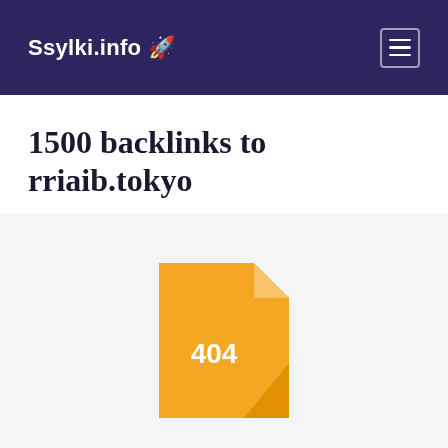Ssylki.info 🚀
1500 backlinks to rriaib.tokyo
[Figure (illustration): A golden/yellow document file icon with a folded upper-right corner and the text '404' displayed in white bold text in the center of the file body.]